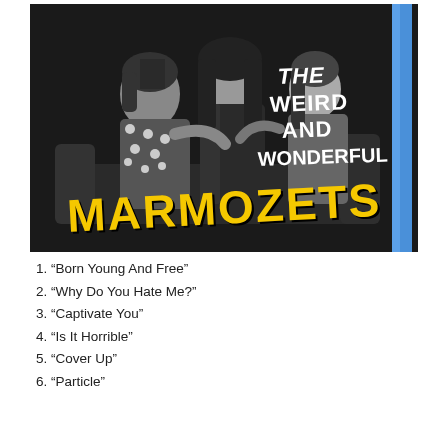[Figure (photo): Album cover for 'The Weird and Wonderful Marmozets' showing band members in black and white photo with yellow graffiti-style band name text and white handwritten album title text, with a blue vertical stripe on the right side.]
1. “Born Young And Free”
2. “Why Do You Hate Me?”
3. “Captivate You”
4. “Is It Horrible”
5. “Cover Up”
6. “Particle”